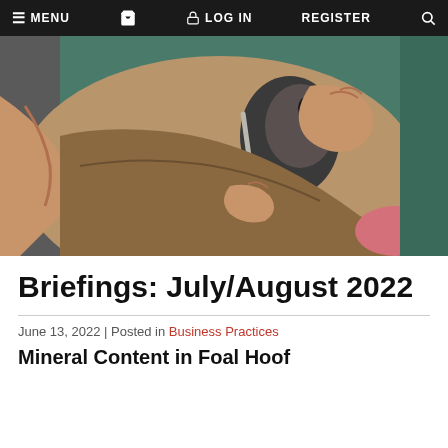MENU  [cart]  LOG IN  REGISTER  [search]
[Figure (photo): Close-up photo of a person filing or rasping a horse's foal hoof. The person's hands are visible holding the hoof and a metal rasp/file tool. The background shows a teal/green stable wall.]
Briefings: July/August 2022
June 13, 2022 | Posted in Business Practices
Mineral Content in Foal Hoof